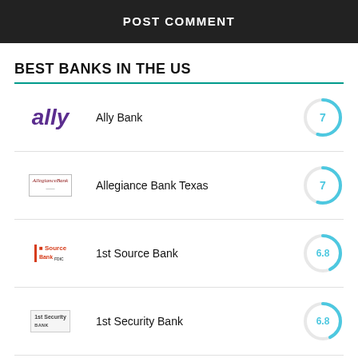POST COMMENT
BEST BANKS IN THE US
Ally Bank — Score: 7
Allegiance Bank Texas — Score: 7
1st Source Bank — Score: 6.8
1st Security Bank — Score: 6.8